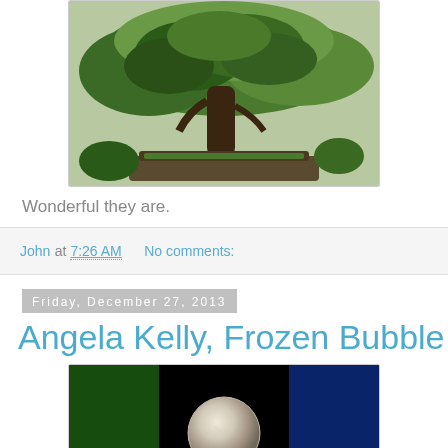[Figure (photo): A large bonsai tree in a wide flat container, set in a garden with green foliage in the background.]
Wonderful they are.
John at 7:26 AM    No comments:
Friday, December 27, 2013
Angela Kelly, Frozen Bubble
[Figure (photo): A frozen bubble photographed against a dark background with green and blue blurred elements. The bubble has a translucent icy texture.]